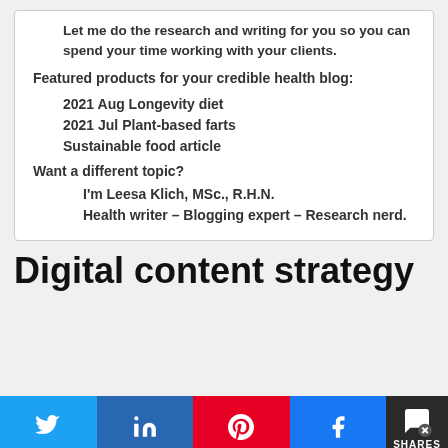Let me do the research and writing for you so you can spend your time working with your clients.
Featured products for your credible health blog:
2021 Aug Longevity diet
2021 Jul Plant-based farts
Sustainable food article
Want a different topic?
I'm Leesa Klich, MSc., R.H.N.
Health writer – Blogging expert – Research nerd.
Digital content strategy